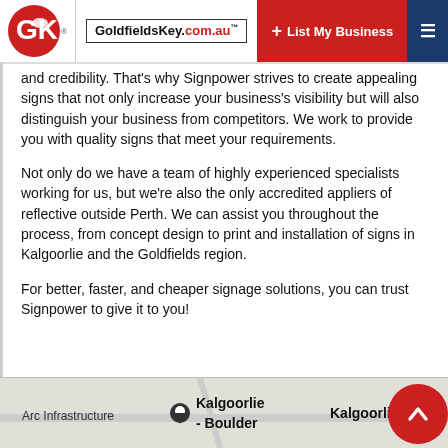GoldfieldsKey.com.au — List My Business
and credibility. That's why Signpower strives to create appealing signs that not only increase your business's visibility but will also distinguish your business from competitors. We work to provide you with quality signs that meet your requirements.
Not only do we have a team of highly experienced specialists working for us, but we're also the only accredited appliers of reflective outside Perth. We can assist you throughout the process, from concept design to print and installation of signs in Kalgoorlie and the Goldfields region.
For better, faster, and cheaper signage solutions, you can trust Signpower to give it to you!
[Figure (map): Map showing Kalgoorlie-Boulder location with Arc Infrastructure label and Kalgoorlie city marker]